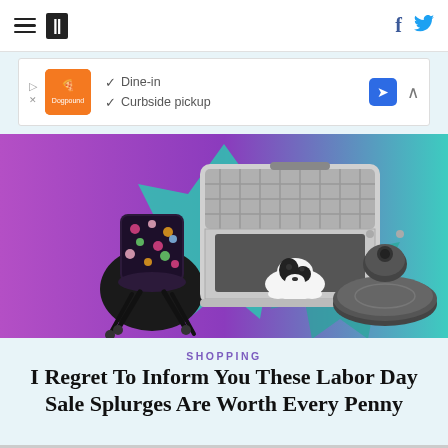HuffPost navigation bar with hamburger menu, logo, Facebook and Twitter icons
[Figure (infographic): Advertisement banner: orange logo, checkmarks for Dine-in and Curbside pickup, blue navigation icon]
[Figure (photo): Hero image showing a floral office chair, a dog in a portable pet crate, and a robot vacuum cleaner on a purple and teal gradient background]
SHOPPING
I Regret To Inform You These Labor Day Sale Splurges Are Worth Every Penny